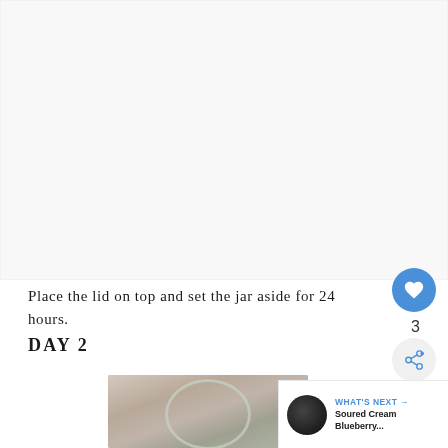[Figure (photo): Large photo area (mostly white/light gray) showing a food preparation scene - appears to be a jar with lid]
Place the lid on top and set the jar aside for 24 hours.
DAY 2
[Figure (photo): Photo of a glass jar viewed from above showing whitish fermented/cultured content]